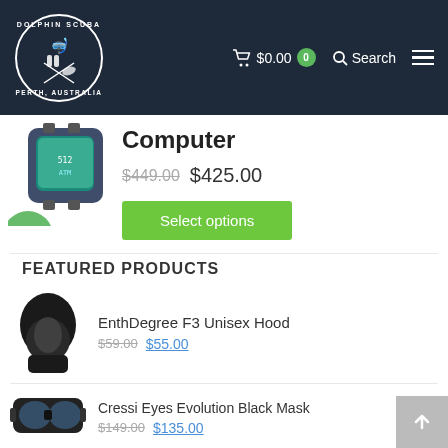Dolphin Scuba Perth Australia — Cart $0.00 [0] Search Menu
[Figure (photo): Dive computer wrist-mounted device product photo]
Computer
$449.00 $425.00
Select options
FEATURED PRODUCTS
[Figure (photo): EnthDegree F3 Unisex Hood — black diving hood product photo]
EnthDegree F3 Unisex Hood
$59.00 $55.00
[Figure (photo): Cressi Eyes Evolution Black Mask product photo]
Cressi Eyes Evolution Black Mask
$149.00 $135.00